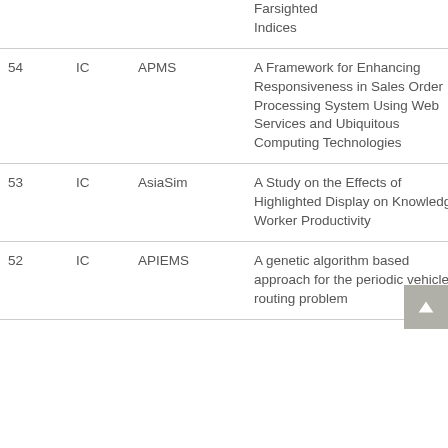| # | Type | Conference | Title | Author |
| --- | --- | --- | --- | --- |
|  |  |  | Farsighted Indices |  |
| 54 | IC | APMS | A Framework for Enhancing Responsiveness in Sales Order Processing System Using Web Services and Ubiquitous Computing Technologies | Mokmin Park |
| 53 | IC | AsiaSim | A Study on the Effects of Highlighted Display on Knowledge Worker Productivity | Jinwu Seo |
| 52 | IC | APIEMS | A genetic algorithm based approach for the periodic vehicle routing problem | Joon Yung M |